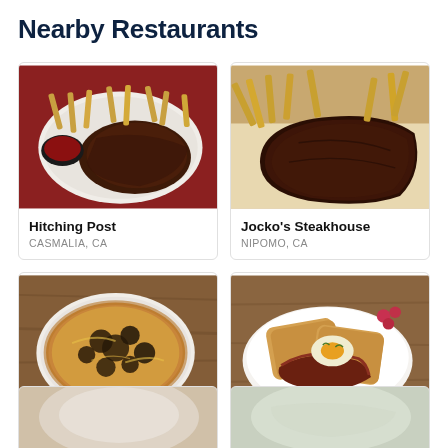Nearby Restaurants
[Figure (photo): Plate with steak and french fries with a dipping sauce, restaurant food photo for Hitching Post]
Hitching Post
CASMALIA, CA
[Figure (photo): Close-up of grilled steak with french fries, restaurant food photo for Jocko's Steakhouse]
Jocko's Steakhouse
NIPOMO, CA
[Figure (photo): Wood-fired flatbread pizza with mushrooms and cheese, restaurant food photo for Full of Life Flatbread]
Full of Life Flatbread
LOS ALAMOS, CA
[Figure (photo): Bowl with toast, sausage, fried egg and grapes, restaurant food photo for Bob's Well Bread]
Bob's Well Bread
LOS ALAMOS, CA
[Figure (photo): Partially visible food photos at the bottom of the page, cut off]
[Figure (photo): Partially visible food photo at the bottom right, cut off]